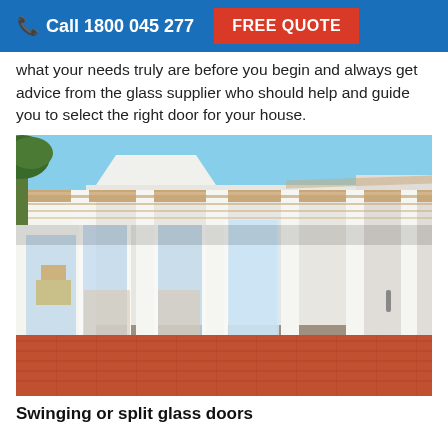Call 1800 045 277  FREE QUOTE
what your needs truly are before you begin and always get advice from the glass supplier who should help and guide you to select the right door for your house.
[Figure (photo): Exterior view of a house with large glass bifold/folding doors open under a white pergola structure with timber battens, red tile patio floor, palm trees visible in background.]
Swinging or split glass doors